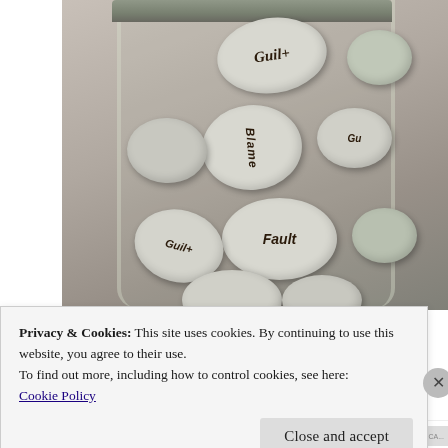[Figure (photo): A glass jar filled with smooth grey/white stones, each with words written in dark marker. Visible words include 'Guilt', 'Blame', 'Fault', 'Guilt' (multiple stones). The jar has a metal lid visible at the top.]
Privacy & Cookies: This site uses cookies. By continuing to use this website, you agree to their use.
To find out more, including how to control cookies, see here:
Cookie Policy
Close and accept